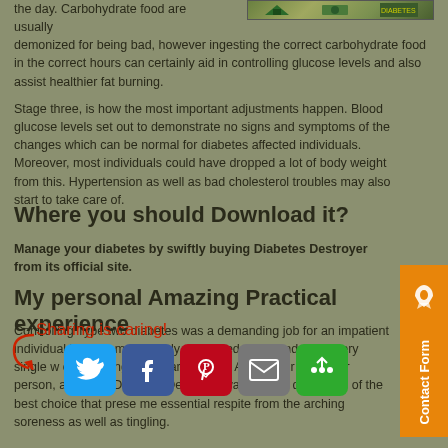the day. Carbohydrate food are usually demonized for being bad, however ingesting the correct carbohydrate food in the correct hours can certainly aid in controlling glucose levels and also assist healthier fat burning.
Stage three, is how the most important adjustments happen. Blood glucose levels set out to demonstrate no signs and symptoms of the changes which can be normal for diabetes affected individuals. Moreover, most individuals could have dropped a lot of body weight from this. Hypertension as well as bad cholesterol troubles may also start to take care of.
Where you should Download it?
Manage your diabetes by swiftly buying Diabetes Destroyer from its official site.
My personal Amazing Practical experience
Controlling Type two diabetes was a demanding job for an impatient individual just like me. I nearly misplaced every and also every single w of just living a regular life-time. As a eager particular person, acquiring Diabetes Destroyer was without doubt one of the best choice that prese me essential respite from the arching soreness as well as tingling.
Sharing is caring!